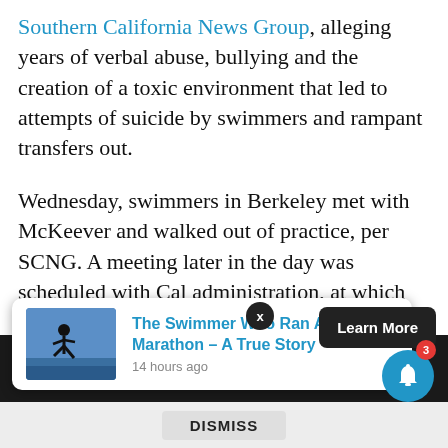Southern California News Group, alleging years of verbal abuse, bullying and the creation of a toxic environment that led to attempts of suicide by swimmers and rampant transfers out.
Wednesday, swimmers in Berkeley met with McKeever and walked out of practice, per SCNG. A meeting later in the day was scheduled with Cal administration, at which time McKeever was placed on administrative leave.
Cal's statement on the matter apparently provided little consolation to the community, or the 19 swimmers and six parents who spoke to SCNG. The SCNG revealed
[Figure (screenshot): Notification popup showing 'The Swimmer Who Ran A Marathon – A True Story' article from 14 hours ago, with a Learn More button, dismiss bar, X close button, and a blue bell notification icon with badge showing 3.]